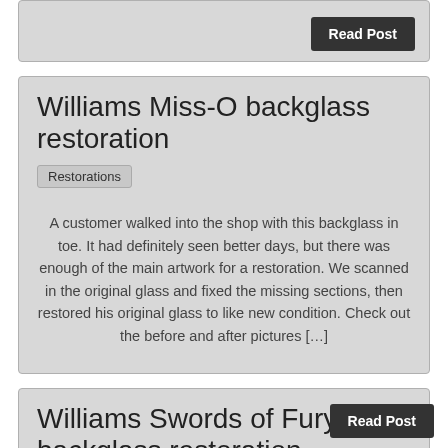Read Post
Williams Miss-O backglass restoration
Restorations
A customer walked into the shop with this backglass in toe. It had definitely seen better days, but there was enough of the main artwork for a restoration. We scanned in the original glass and fixed the missing sections, then restored his original glass to like new condition. Check out the before and after pictures […]
Read Post
Williams Swords of Fury backglass restoration
Restorations
This was one of those examples were we were supplied with the